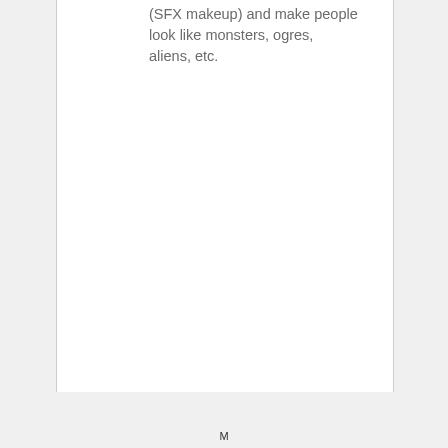(SFX makeup) and make people look like monsters, ogres, aliens, etc.
M